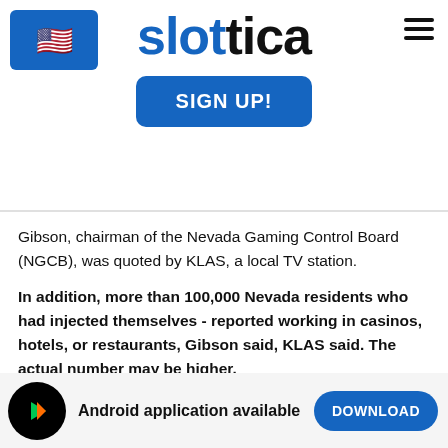[Figure (logo): Slottica casino website header with US flag icon, slottica logo in blue and black, SIGN UP! button, and hamburger menu]
Gibson, chairman of the Nevada Gaming Control Board (NGCB), was quoted by KLAS, a local TV station.
In addition, more than 100,000 Nevada residents who had injected themselves - reported working in casinos, hotels, or restaurants, Gibson said, KLAS said. The actual number may be higher.
Gibson was one of the state officials who appeared at the MGM Mandalay Bay convention center on Thursday to
Android application available DOWNLOAD